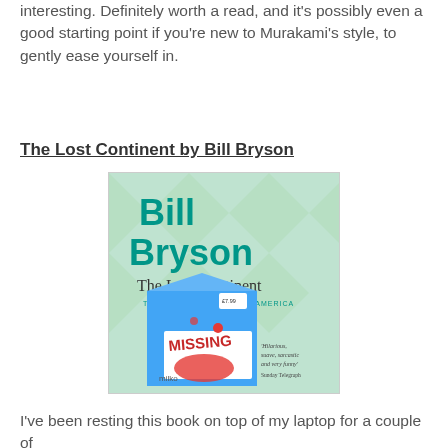interesting. Definitely worth a read, and it's possibly even a good starting point if you're new to Murakami's style, to gently ease yourself in.
The Lost Continent by Bill Bryson
[Figure (photo): Book cover of 'The Lost Continent: Travels in Small-Town America' by Bill Bryson. Cover features a blue milk carton with 'MISSING' stamped on it showing a map of America, on a green checkered background. Text reads 'Bill Bryson' in large teal letters, 'The Lost Continent' in serif font, subtitle 'Travels in Small-Town America', 'milko' on the carton, and quote 'Hilarious, suave, sarcastic and very funny - Sunday Telegraph'.]
I've been resting this book on top of my laptop for a couple of